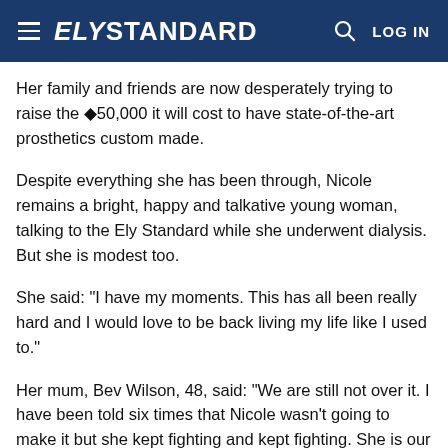ELY STANDARD
Her family and friends are now desperately trying to raise the £50,000 it will cost to have state-of-the-art prosthetics custom made.
Despite everything she has been through, Nicole remains a bright, happy and talkative young woman, talking to the Ely Standard while she underwent dialysis. But she is modest too.
She said: "I have my moments. This has all been really hard and I would love to be back living my life like I used to."
Her mum, Bev Wilson, 48, said: "We are still not over it. I have been told six times that Nicole wasn't going to make it but she kept fighting and kept fighting. She is our miracle."